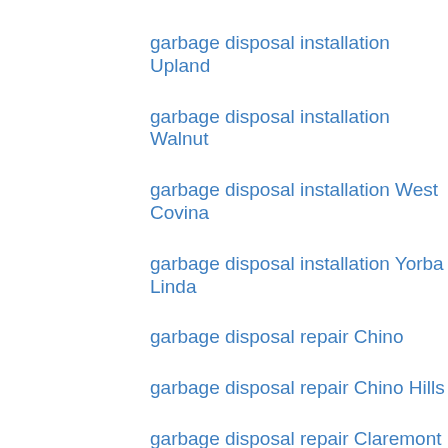garbage disposal installation Upland
garbage disposal installation Walnut
garbage disposal installation West Covina
garbage disposal installation Yorba Linda
garbage disposal repair Chino
garbage disposal repair Chino Hills
garbage disposal repair Claremont
garbage disposal repair Corona
garbage disposal repair Covina
garbage disposal repair Diamond Bar